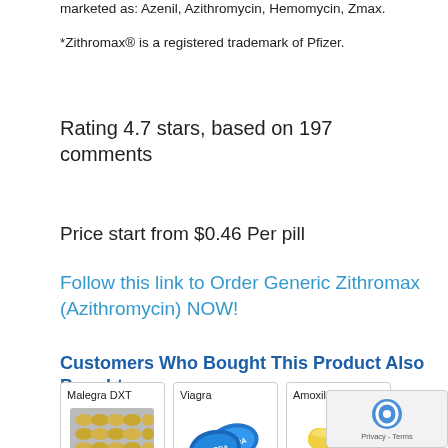marketed as: Azenil, Azithromycin, Hemomycin, Zmax.
*Zithromax® is a registered trademark of Pfizer.
Rating 4.7 stars, based on 197 comments
Price start from $0.46 Per pill
Follow this link to Order Generic Zithromax (Azithromycin) NOW!
Customers Who Bought This Product Also Bought
[Figure (photo): Malegra DXT blister pack of pills]
[Figure (photo): Viagra blue pills]
[Figure (photo): Amoxil yellow capsule]